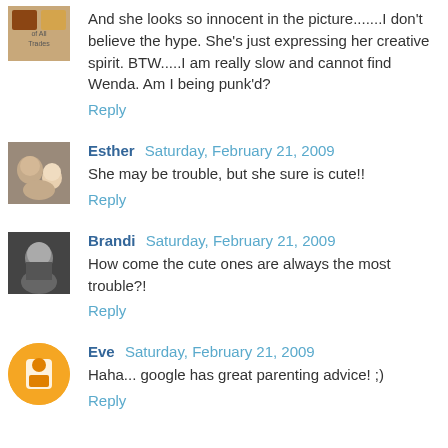And she looks so innocent in the picture.......I don't believe the hype. She's just expressing her creative spirit. BTW.....I am really slow and cannot find Wenda. Am I being punk'd?
Reply
Esther  Saturday, February 21, 2009
She may be trouble, but she sure is cute!!
Reply
Brandi  Saturday, February 21, 2009
How come the cute ones are always the most trouble?!
Reply
Eve  Saturday, February 21, 2009
Haha... google has great parenting advice! ;)
Reply